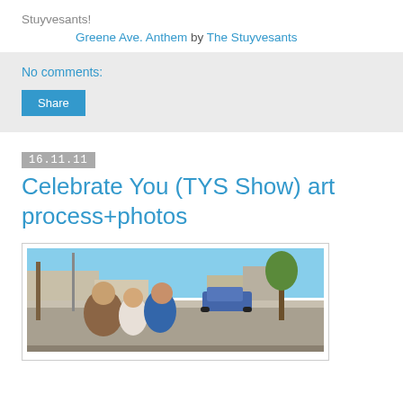Stuyvesants!
Greene Ave. Anthem by The Stuyvesants
No comments:
Share
16.11.11
Celebrate You (TYS Show) art process+photos
[Figure (photo): Street scene photo showing three people standing/walking on a suburban street with parked cars, buildings, and trees in the background under a blue sky.]